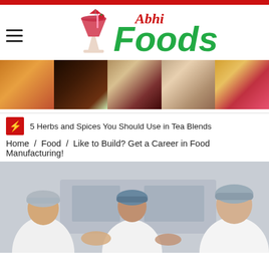[Figure (logo): Abhi Foods logo with drink illustration and stylized text]
[Figure (photo): Horizontal strip of food photos: pasta, chocolate cake, wine glasses, latte, pastries]
5 Herbs and Spices You Should Use in Tea Blends
Home / Food / Like to Build? Get a Career in Food Manufacturing!
[Figure (photo): Food manufacturing workers in white coats and hair nets working at industrial machinery]